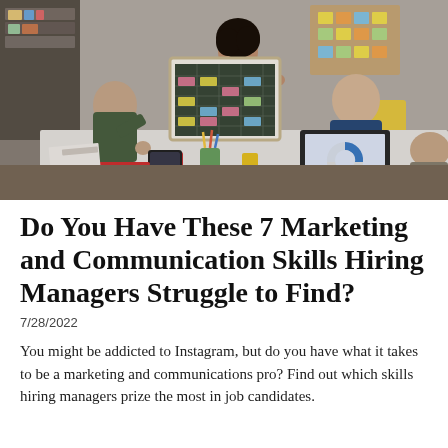[Figure (photo): A business meeting scene: a woman in a pink dress holds a chalk board with a schedule/calendar covered in colorful sticky notes, presenting to colleagues seated around a white table in an office setting. A laptop with a donut chart is visible on the table.]
Do You Have These 7 Marketing and Communication Skills Hiring Managers Struggle to Find?
7/28/2022
You might be addicted to Instagram, but do you have what it takes to be a marketing and communications pro? Find out which skills hiring managers prize the most in job candidates.